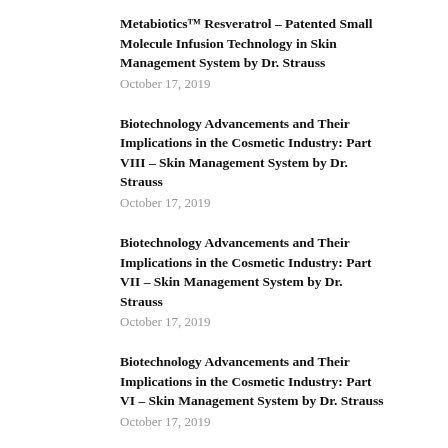Metabiotics™ Resveratrol – Patented Small Molecule Infusion Technology in Skin Management System by Dr. Strauss
October 17, 2019
Biotechnology Advancements and Their Implications in the Cosmetic Industry: Part VIII – Skin Management System by Dr. Strauss
October 17, 2019
Biotechnology Advancements and Their Implications in the Cosmetic Industry: Part VII – Skin Management System by Dr. Strauss
October 17, 2019
Biotechnology Advancements and Their Implications in the Cosmetic Industry: Part VI – Skin Management System by Dr. Strauss
October 17, 2019
Biotechnology Advancements and Their Implications in the Cosmetic Industry: Part V – Skin Management System by Dr. Strauss